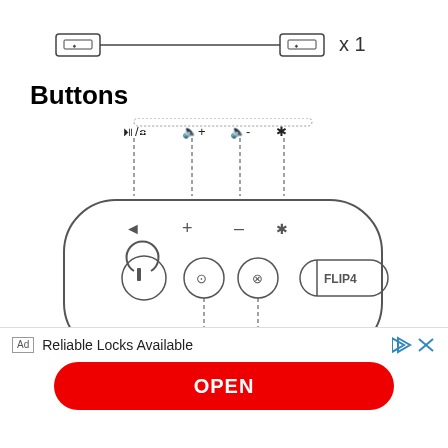[Figure (engineering-diagram): USB cable diagram with x1 quantity label — type-A to micro-USB connector]
Buttons
[Figure (engineering-diagram): JBL Flip 4 speaker top-view diagram with labeled buttons: play/pause and call button (▶|/phone), volume up (speaker+), volume down (speaker-), Bluetooth, with dashed lines pointing to corresponding buttons on speaker body. Bottom row shows power button, connect button, and x button.]
[Figure (infographic): Advertisement bar: Ad label, 'Reliable Locks Available' text with Plai and close icons, and an OPEN button in red.]